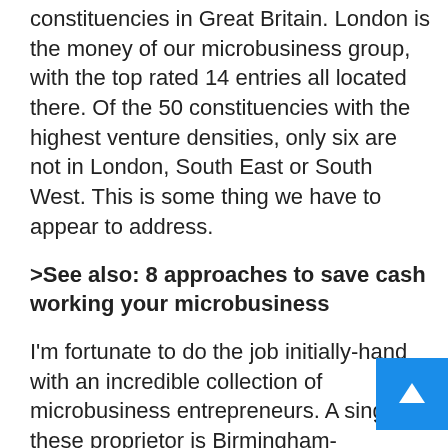constituencies in Great Britain. London is the money of our microbusiness group, with the top rated 14 entries all located there. Of the 50 constituencies with the highest venture densities, only six are not in London, South East or South West. This is some thing we have to appear to address.
>See also: 8 approaches to save cash working your microbusiness
I'm fortunate to do the job initially-hand with an incredible collection of microbusiness entrepreneurs. A single these proprietor is Birmingham-dependent Cleo Morris, 28, who established up Mission Assorted in October 20… link minority and less than-represented communities with firms as a result of